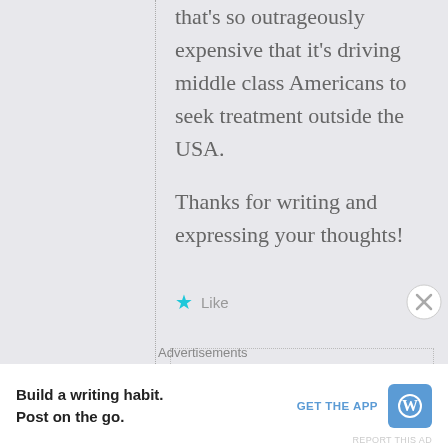that's so outrageously expensive that it's driving middle class Americans to seek treatment outside the USA.
Thanks for writing and expressing your thoughts!
★ Like
dolphinwrite
February 15, 2019 • 9:57 pm
Advertisements
Build a writing habit. Post on the go.
GET THE APP